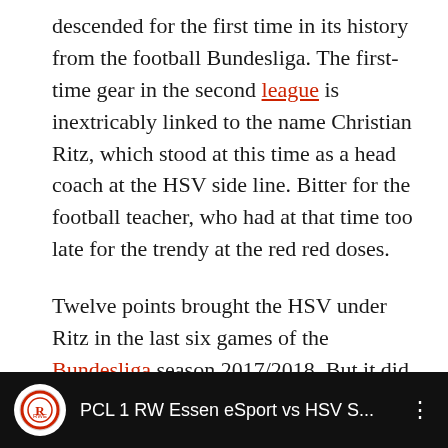descended for the first time in its history from the football Bundesliga. The first-time gear in the second league is inextricably linked to the name Christian Ritz, which stood at this time as a head coach at the HSV side line. Bitter for the football teacher, who had at that time too late for the trendy at the red red doses.
Twelve points brought the HSV under Ritz in the last six games of the Bundesliga season 2017/2018. But it did not help anymore, the last remaining founding member rose as a table-top last for the first time out of the House.
[Figure (screenshot): Video thumbnail bar with black background showing RW Essen logo and title 'PCL 1 RW Essen eSport vs HSV S...' with a three-dot menu icon]